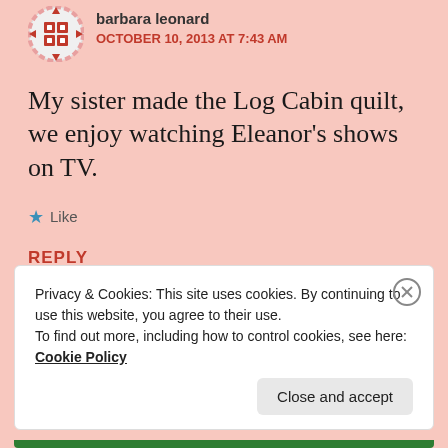[Figure (illustration): Avatar/profile icon with a quilt pattern design in pink and white]
barbara leonard
OCTOBER 10, 2013 AT 7:43 AM
My sister made the Log Cabin quilt, we enjoy watching Eleanor’s shows on TV.
★ Like
REPLY
Privacy & Cookies: This site uses cookies. By continuing to use this website, you agree to their use.
To find out more, including how to control cookies, see here:
Cookie Policy
Close and accept